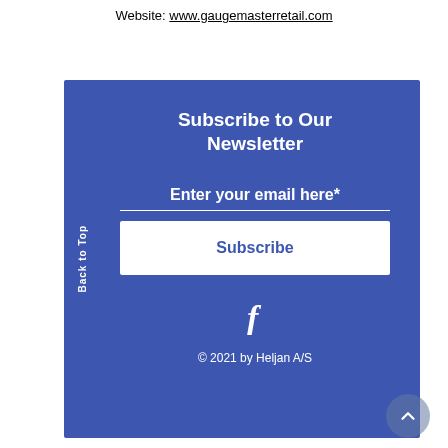Website: www.gaugemasterretail.com
Subscribe to Our Newsletter
Enter your email here*
Subscribe
[Figure (illustration): Facebook icon (stylized f)]
© 2021 by Heljan A/S